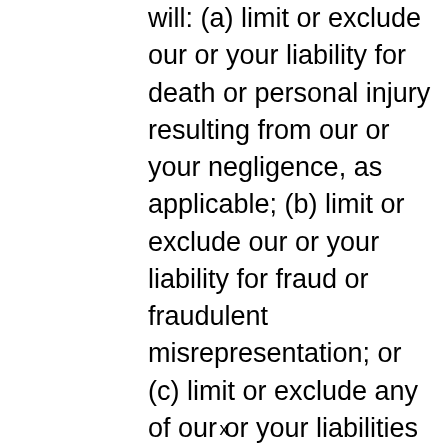will: (a) limit or exclude our or your liability for death or personal injury resulting from our or your negligence, as applicable; (b) limit or exclude our or your liability for fraud or fraudulent misrepresentation; or (c) limit or exclude any of our or your liabilities in any way that is not permitted under applicable law.
2. We will not be liable to you in respect of any losses arising out of events beyond our reasonable control.
[Figure (infographic): Advertisement banner: 'Just $2 can protect 1 acre of irreplaceable forest homes in the Amazon. How many acres are you willing to protect?' with a 'PROTECT FORESTS NOW' green button and animal imagery on dark forest background.]
x